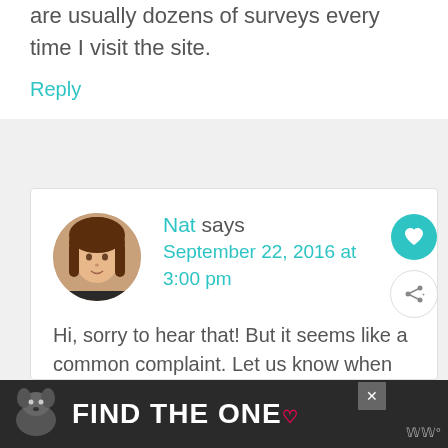are usually dozens of surveys every time I visit the site.
Reply
Nat says September 22, 2016 at 3:00 pm
Hi, sorry to hear that! But it seems like a common complaint. Let us know when you finally get that survey and whether you can
[Figure (illustration): Advertisement banner: dark background with dog image and text FIND THE ONE with a heart symbol]
[Figure (illustration): Circular avatar photo of a woman with long brown hair]